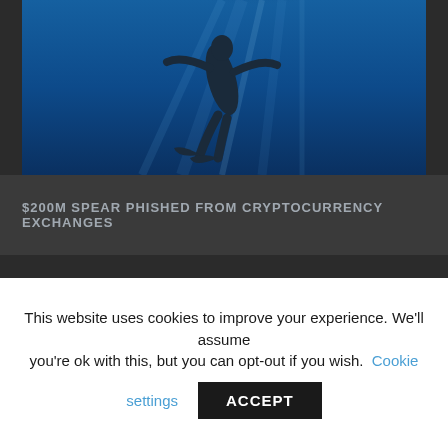[Figure (photo): Underwater photo of a diver/freediver with fins visible, silhouetted against deep blue ocean water with light rays from above]
$200M SPEAR PHISHED FROM CRYPTOCURRENCY EXCHANGES
SUBSCRIBE TO OUR NEWSLETTER
Please check your interests and fill in this form to subscribe:
This website uses cookies to improve your experience. We'll assume you're ok with this, but you can opt-out if you wish. Cookie settings ACCEPT